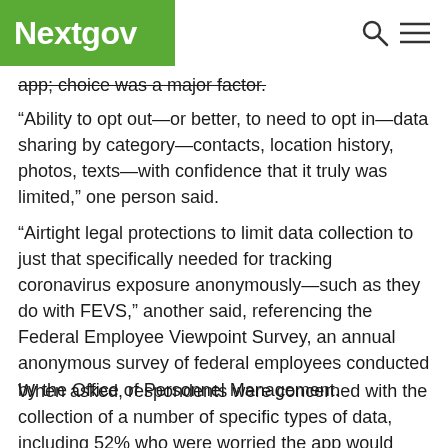Nextgov
app; choice was a major factor.
“Ability to opt out—or better, to need to opt in—data sharing by category—contacts, location history, photos, texts—with confidence that it truly was limited,” one person said.
“Airtight legal protections to limit data collection to just that specifically needed for tracking coronavirus exposure anonymously—such as they do with FEVS,” another said, referencing the Federal Employee Viewpoint Survey, an annual anonymous survey of federal employees conducted by the Office of Personnel Management.
When asked, respondents were concerned with the collection of a number of specific types of data, including 52% who were worried the app would collect political history data; 54% said location data; 56% said biometric data and 57% said contact information. However, a staggering 81% said financial